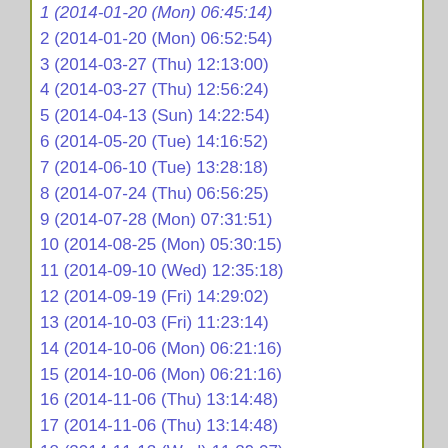1 (2014-01-20 (Mon) 06:45:14)
2 (2014-01-20 (Mon) 06:52:54)
3 (2014-03-27 (Thu) 12:13:00)
4 (2014-03-27 (Thu) 12:56:24)
5 (2014-04-13 (Sun) 14:22:54)
6 (2014-05-20 (Tue) 14:16:52)
7 (2014-06-10 (Tue) 13:28:18)
8 (2014-07-24 (Thu) 06:56:25)
9 (2014-07-28 (Mon) 07:31:51)
10 (2014-08-25 (Mon) 05:30:15)
11 (2014-09-10 (Wed) 12:35:18)
12 (2014-09-19 (Fri) 14:29:02)
13 (2014-10-03 (Fri) 11:23:14)
14 (2014-10-06 (Mon) 06:21:16)
15 (2014-10-06 (Mon) 06:21:16)
16 (2014-11-06 (Thu) 13:14:48)
17 (2014-11-06 (Thu) 13:14:48)
18 (2014-11-12 (Wed) 11:29:07)
19 (2014-12-12 (Fri) 14:12:48)
20 (2014-12-17 (Wed) 05:54:49)
21 (2014-12-17 (Wed) 05:56:40)
22 (2014-12-17 (Wed) 05:56:40)
23 (2015-03-31 (Tue) 10:10:17)
24 (2015-03-31 (Tue) 10:37:34)
25 (2015-03-31 (Tue) 10:12:70)